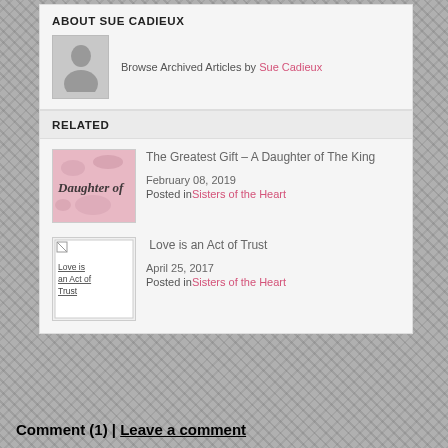ABOUT SUE CADIEUX
Browse Archived Articles by Sue Cadieux
RELATED
The Greatest Gift – A Daughter of The King
February 08, 2019
Posted in Sisters of the Heart
Love is an Act of Trust
April 25, 2017
Posted in Sisters of the Heart
Comment (1) | Leave a comment